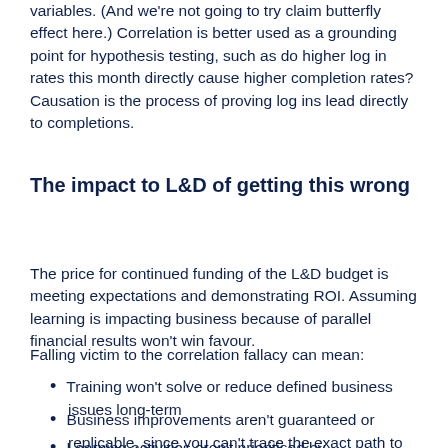variables. (And we're not going to try claim butterfly effect here.) Correlation is better used as a grounding point for hypothesis testing, such as do higher log in rates this month directly cause higher completion rates? Causation is the process of proving log ins lead directly to completions.
The impact to L&D of getting this wrong
The price for continued funding of the L&D budget is meeting expectations and demonstrating ROI. Assuming learning is impacting business because of parallel financial results won't win favour.
Falling victim to the correlation fallacy can mean:
Training won't solve or reduce defined business issues long-term
Business improvements aren't guaranteed or replicable, since you can't trace the exact path to success
Learning activities aren't prioritised by